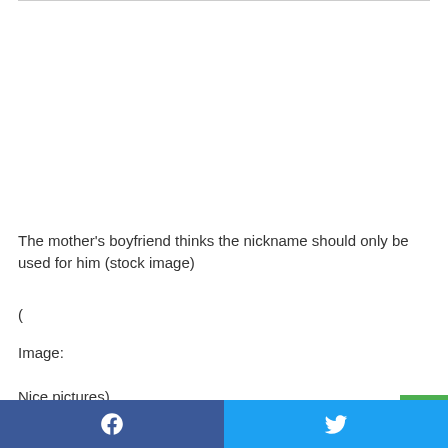The mother's boyfriend thinks the nickname should only be used for him (stock image)
(
Image:
Nice pictures)
Get the news you want to your inbox. Sign up for the